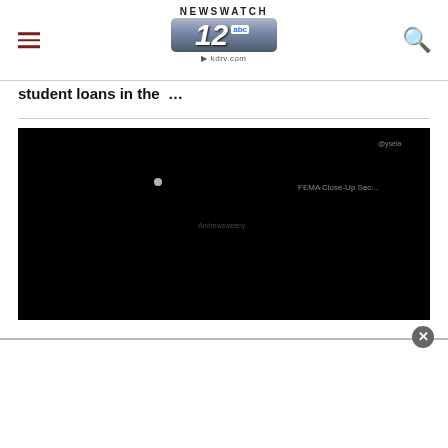NEWSWATCH 12 abc kdrv.com
student loans in the  ...
[Figure (screenshot): Dark video frame/screenshot with faint light spots and blurred text overlay, nearly black image]
[Figure (other): White advertisement area with close button overlay at bottom of page]